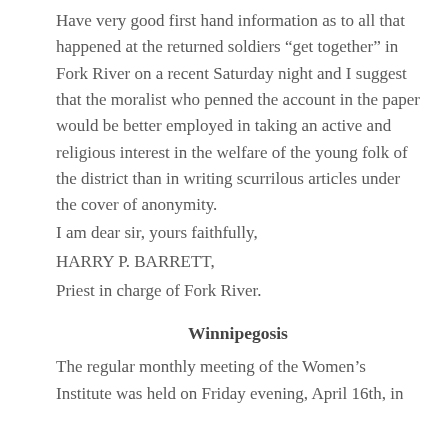Have very good first hand information as to all that happened at the returned soldiers “get together” in Fork River on a recent Saturday night and I suggest that the moralist who penned the account in the paper would be better employed in taking an active and religious interest in the welfare of the young folk of the district than in writing scurrilous articles under the cover of anonymity.
I am dear sir, yours faithfully,
HARRY P. BARRETT,
Priest in charge of Fork River.
Winnipegosis
The regular monthly meeting of the Women’s Institute was held on Friday evening, April 16th, in